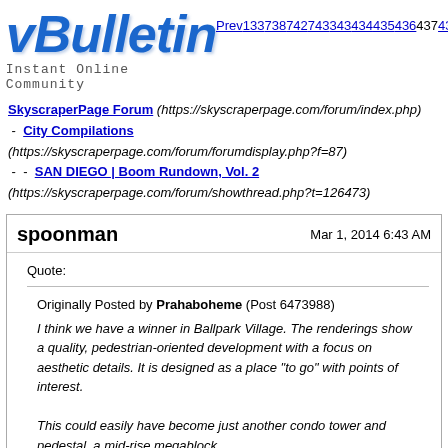[Figure (logo): vBulletin logo with 'Instant Online Community' tagline]
Prev133738742743343444354364374383
Show 5
SkyscraperPage Forum (https://skyscraperpage.com/forum/index.php) - City Compilations (https://skyscraperpage.com/forum/forumdisplay.php?f=87) - - SAN DIEGO | Boom Rundown, Vol. 2 (https://skyscraperpage.com/forum/showthread.php?t=126473)
spoonman — Mar 1, 2014 6:43 AM
Quote:
Originally Posted by Prahaboheme (Post 6473988)
I think we have a winner in Ballpark Village. The renderings show a quality, pedestrian-oriented development with a focus on aesthetic details. It is designed as a place "to go" with points of interest.

This could easily have become just another condo tower and pedestal, a mid-rise megablock.

This project is exciting. Very much an LA Live vibe, which will help o